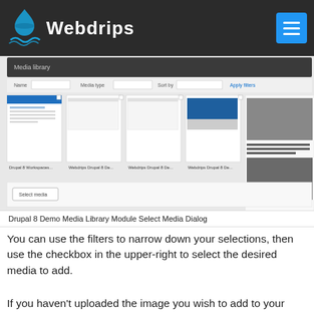Webdrips
[Figure (screenshot): Drupal 8 Demo Media Library Module Select Media Dialog screenshot showing a media library grid with thumbnails of Drupal 8 workspaces and Webdrips Drupal 8 Demo items, plus a video thumbnail on the right, and a Select media button at the bottom.]
Drupal 8 Demo Media Library Module Select Media Dialog
You can use the filters to narrow down your selections, then use the checkbox in the upper-right to select the desired media to add.
If you haven't uploaded the image you wish to add to your page, you can use the following...